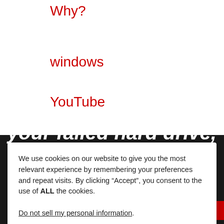Why?
windows
YouTube
We use cookies on our website to give you the most relevant experience by remembering your preferences and repeat visits. By clicking “Accept”, you consent to the use of ALL the cookies.
Do not sell my personal information.
Cookie settings  ACCEPT
your failed hard drive, SSD, flash drive, or RAID?
Click below to submit our Chances Form